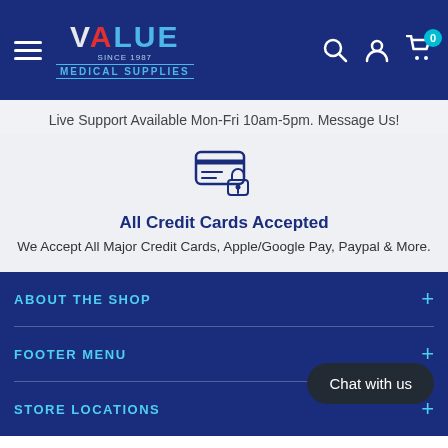VALUE MEDICAL SUPPLIES — Navigation header with hamburger menu, logo, search, account, and cart icons
Live Support Available Mon-Fri 10am-5pm. Message Us!
[Figure (illustration): Secure credit card icon — credit card with a padlock]
All Credit Cards Accepted
We Accept All Major Credit Cards, Apple/Google Pay, Paypal & More.
ABOUT THE SHOP
FOOTER MENU
STORE LOCATIONS
Chat with us